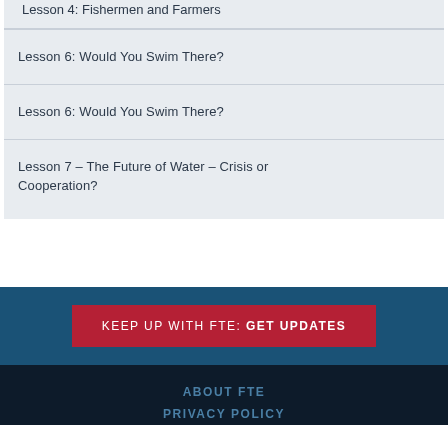Lesson 4: Fishermen and Farmers
Lesson 6: Would You Swim There?
Lesson 6: Would You Swim There?
Lesson 7 – The Future of Water – Crisis or Cooperation?
KEEP UP WITH FTE: GET UPDATES
ABOUT FTE
PRIVACY POLICY